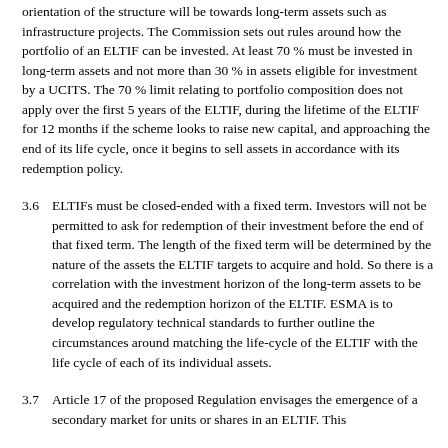orientation of the structure will be towards long-term assets such as infrastructure projects. The Commission sets out rules around how the portfolio of an ELTIF can be invested. At least 70 % must be invested in long-term assets and not more than 30 % in assets eligible for investment by a UCITS. The 70 % limit relating to portfolio composition does not apply over the first 5 years of the ELTIF, during the lifetime of the ELTIF for 12 months if the scheme looks to raise new capital, and approaching the end of its life cycle, once it begins to sell assets in accordance with its redemption policy.
3.6 ELTIFs must be closed-ended with a fixed term. Investors will not be permitted to ask for redemption of their investment before the end of that fixed term. The length of the fixed term will be determined by the nature of the assets the ELTIF targets to acquire and hold. So there is a correlation with the investment horizon of the long-term assets to be acquired and the redemption horizon of the ELTIF. ESMA is to develop regulatory technical standards to further outline the circumstances around matching the life-cycle of the ELTIF with the life cycle of each of its individual assets.
3.7 Article 17 of the proposed Regulation envisages the emergence of a secondary market for units or shares in an ELTIF. This